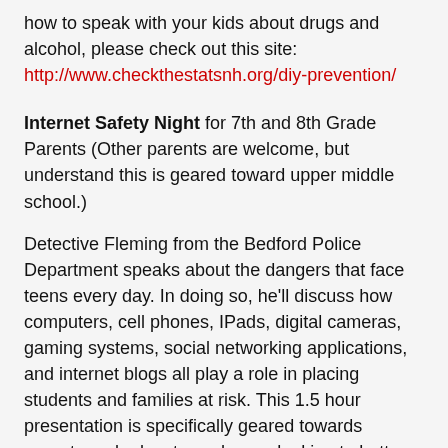how to speak with your kids about drugs and alcohol, please check out this site: http://www.checkthestatsnh.org/diy-prevention/
Internet Safety Night for 7th and 8th Grade Parents (Other parents are welcome, but understand this is geared toward upper middle school.)
Detective Fleming from the Bedford Police Department speaks about the dangers that face teens every day. In doing so, he'll discuss how computers, cell phones, IPads, digital cameras, gaming systems, social networking applications, and internet blogs all play a role in placing students and families at risk. This 1.5 hour presentation is specifically geared towards parents and educators who are looking to better understand the technology available to teens today and the way in which child predators use it to exploit them.
Monday, October 26th 6:30 AVS Gym